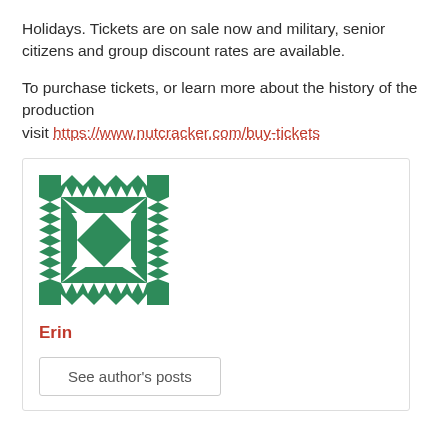Holidays. Tickets are on sale now and military, senior citizens and group discount rates are available.
To purchase tickets, or learn more about the history of the production visit https://www.nutcracker.com/buy-tickets
[Figure (illustration): Green quilt-pattern square logo with geometric triangles and a solid green center square, white triangular patterns on green background.]
Erin
See author's posts